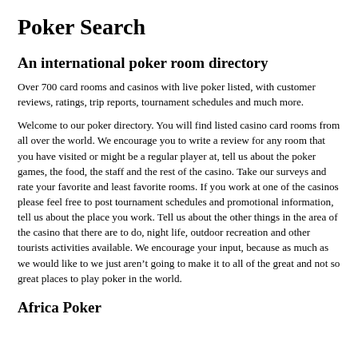Poker Search
An international poker room directory
Over 700 card rooms and casinos with live poker listed, with customer reviews, ratings, trip reports, tournament schedules and much more.
Welcome to our poker directory. You will find listed casino card rooms from all over the world. We encourage you to write a review for any room that you have visited or might be a regular player at, tell us about the poker games, the food, the staff and the rest of the casino. Take our surveys and rate your favorite and least favorite rooms. If you work at one of the casinos please feel free to post tournament schedules and promotional information, tell us about the place you work. Tell us about the other things in the area of the casino that there are to do, night life, outdoor recreation and other tourists activities available. We encourage your input, because as much as we would like to we just aren’t going to make it to all of the great and not so great places to play poker in the world.
Africa Poker